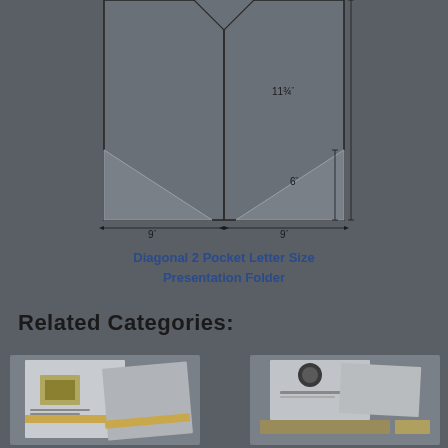[Figure (engineering-diagram): Technical line drawing of a Diagonal 2 Pocket Letter Size Presentation Folder showing open folder from inside with two diagonal pockets, dimensions labeled: 11 3/4 inches height, 6 inches pocket height, 9 inches width each panel (total 18 inches wide)]
Diagonal 2 Pocket Letter Size Presentation Folder
Related Categories:
[Figure (photo): Thumbnail photo of a presentation folder product with gold/yellow accents and logo, shown at angle]
[Figure (photo): Thumbnail photo of a presentation folder product with dark/gold tones and logo, shown at angle with business card holders]